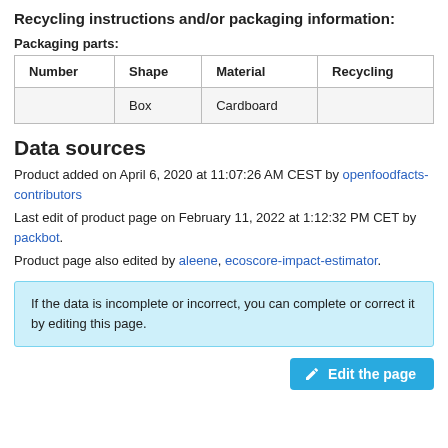Recycling instructions and/or packaging information:
Packaging parts:
| Number | Shape | Material | Recycling |
| --- | --- | --- | --- |
|  | Box | Cardboard |  |
Data sources
Product added on April 6, 2020 at 11:07:26 AM CEST by openfoodfacts-contributors
Last edit of product page on February 11, 2022 at 1:12:32 PM CET by packbot.
Product page also edited by aleene, ecoscore-impact-estimator.
If the data is incomplete or incorrect, you can complete or correct it by editing this page.
Edit the page